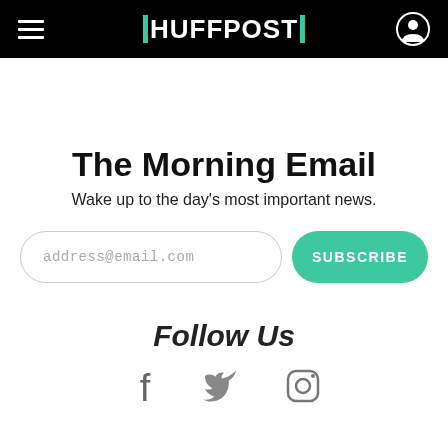HUFFPOST
The Morning Email
Wake up to the day's most important news.
address@email.com
SUBSCRIBE
Follow Us